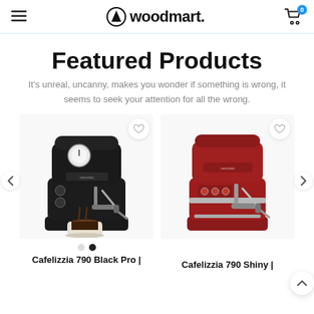woodmart.
Featured Products
It's unreal, uncanny, makes you wonder if something is wrong, it seems to seek your attention for all the wrong.
[Figure (photo): Black espresso machine Cafelizzia 790 Black Pro with coffee being dispensed into a glass cup]
[Figure (photo): Red espresso machine Cafelizzia 790 Shiny]
Cafelizzia 790 Black Pro |
Cafelizzia 790 Shiny |